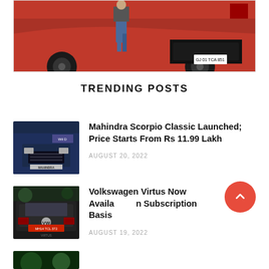[Figure (photo): Red Ford Mustang sports car with a person standing in front of it. License plate reads GJ 01 TCA 851.]
TRENDING POSTS
[Figure (photo): Mahindra Scorpio Classic SUV front view in dark blue/grey color at a launch event.]
Mahindra Scorpio Classic Launched; Price Starts From Rs 11.99 Lakh
AUGUST 20, 2022
[Figure (photo): Black Volkswagen Virtus rear view with red license plate MH14 TCL 372.]
Volkswagen Virtus Now Available On Subscription Basis
AUGUST 19, 2022
[Figure (photo): Partial view of a third trending post thumbnail in green/dark color.]